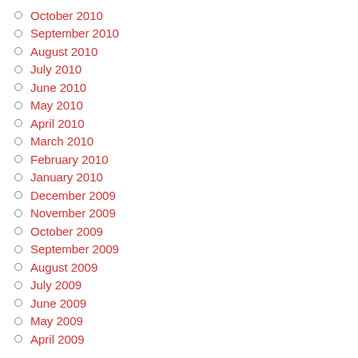October 2010
September 2010
August 2010
July 2010
June 2010
May 2010
April 2010
March 2010
February 2010
January 2010
December 2009
November 2009
October 2009
September 2009
August 2009
July 2009
June 2009
May 2009
April 2009